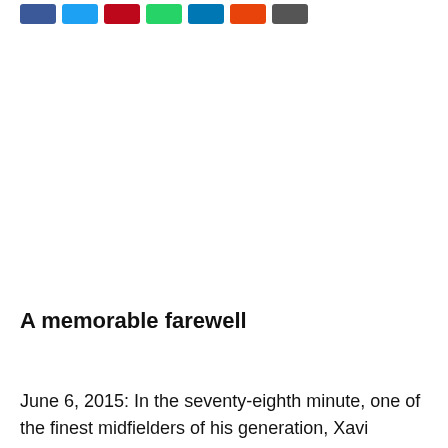[Figure (other): Row of social media share buttons: Facebook (blue), Twitter (light blue), Pinterest (red), WhatsApp (green), LinkedIn (dark blue), Email/share (orange), More (dark grey)]
A memorable farewell
June 6, 2015: In the seventy-eighth minute, one of the finest midfielders of his generation, Xavi Hernandez came on as a substitute for another legend – Andresa Iniesta to make his